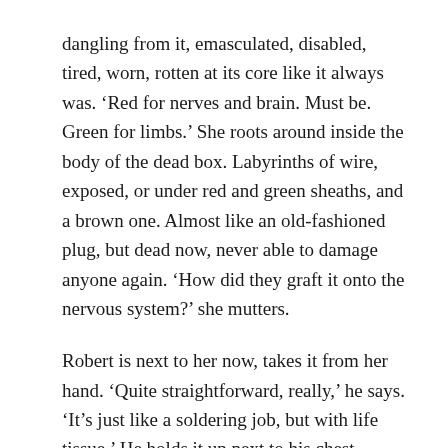dangling from it, emasculated, disabled, tired, worn, rotten at its core like it always was. ‘Red for nerves and brain. Must be. Green for limbs.’ She roots around inside the body of the dead box. Labyrinths of wire, exposed, or under red and green sheaths, and a brown one. Almost like an old-fashioned plug, but dead now, never able to damage anyone again. ‘How did they graft it onto the nervous system?’ she mutters.
Robert is next to her now, takes it from her hand. ‘Quite straightforward, really,’ he says. ‘It’s just like a soldering job, but with life tissue.’ He holds it up next to his chest. ‘Keyhole surgery, actually. Needs a general anaesthetic, though, specially if you’re implanting it in someone who doesn’t want it.’ He hands it back to her. ‘I was frightened for a minute there that it would come back to life and reach for